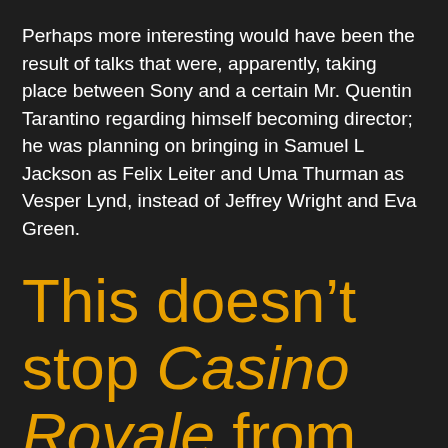Perhaps more interesting would have been the result of talks that were, apparently, taking place between Sony and a certain Mr. Quentin Tarantino regarding himself becoming director; he was planning on bringing in Samuel L Jackson as Felix Leiter and Uma Thurman as Vesper Lynd, instead of Jeffrey Wright and Eva Green.
This doesn't stop Casino Royale from showing its age, though that's more to do with the